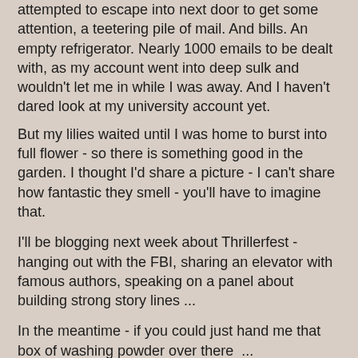attempted to escape into next door to get some attention, a teetering pile of mail. And bills. An empty refrigerator. Nearly 1000 emails to be dealt with, as my account went into deep sulk and wouldn't let me in while I was away. And I haven't dared look at my university account yet.
But my lilies waited until I was home to burst into full flower - so there is something good in the garden. I thought I'd share a picture - I can't share how fantastic they smell - you'll have to imagine that.
I'll be blogging next week about Thrillerfest - hanging out with the FBI, sharing an elevator with famous authors, speaking on a panel about building strong story lines ...
In the meantime - if you could just hand me that box of washing powder over there  ...
Evonne Wareham at 08:00   No comments:
Share